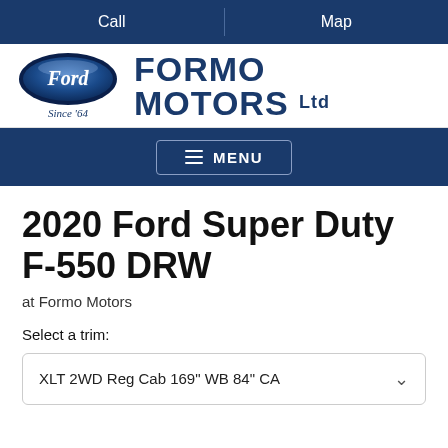Call | Map
[Figure (logo): Ford oval logo with 'Since '64' text and Formo Motors Ltd dealership name]
MENU
2020 Ford Super Duty F-550 DRW
at Formo Motors
Select a trim:
XLT 2WD Reg Cab 169" WB 84" CA